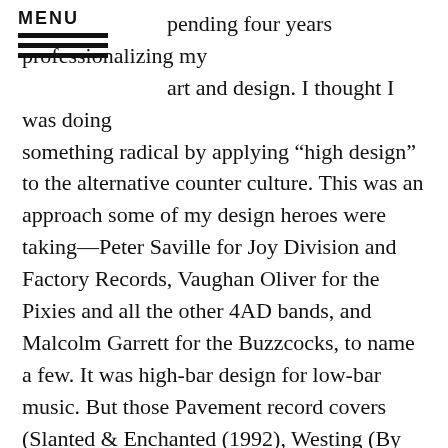MENU
pending four years professionalizing my art and design. I thought I was doing something radical by applying “high design” to the alternative counter culture. This was an approach some of my design heroes were taking—Peter Saville for Joy Division and Factory Records, Vaughan Oliver for the Pixies and all the other 4AD bands, and Malcolm Garrett for the Buzzcocks, to name a few. It was high-bar design for low-bar music. But those Pavement record covers (Slanted & Enchanted (1992), Westing (By Musket And Sextant) (1993), and Crooked Rain, Crooked Rain (1994)) were lo-fi graphics for lo-fi music. It was decidedly unprofessional. And yet, it